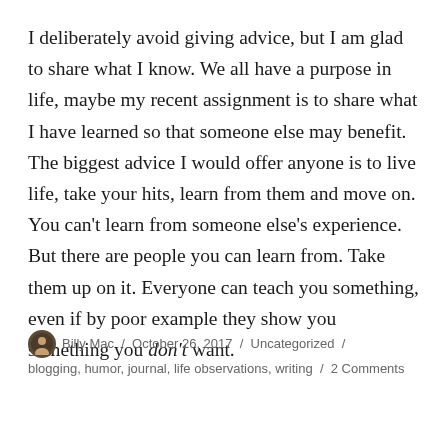I deliberately avoid giving advice, but I am glad to share what I know. We all have a purpose in life, maybe my recent assignment is to share what I have learned so that someone else may benefit. The biggest advice I would offer anyone is to live life, take your hits, learn from them and move on. You can't learn from someone else's experience. But there are people you can learn from. Take them up on it. Everyone can teach you something, even if by poor example they show you something you don't want.
Billy Mac / October 26, 2017 / Uncategorized / blogging, humor, journal, life observations, writing / 2 Comments